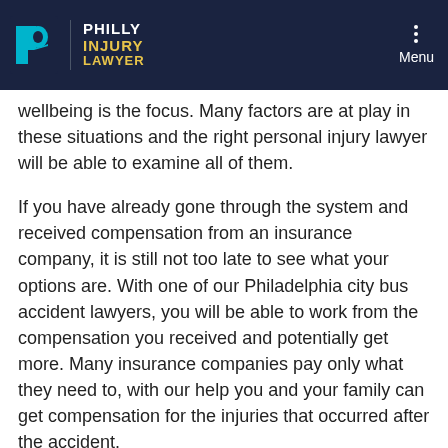Philly Injury Lawyer — Navigation header with logo and menu
wellbeing is the focus. Many factors are at play in these situations and the right personal injury lawyer will be able to examine all of them.
If you have already gone through the system and received compensation from an insurance company, it is still not too late to see what your options are. With one of our Philadelphia city bus accident lawyers, you will be able to work from the compensation you received and potentially get more. Many insurance companies pay only what they need to, with our help you and your family can get compensation for the injuries that occurred after the accident.
With the right Philadelphia school bus accident lawyer on your team, you'll find it easier to get the results you need. We will help you gather and present evidence that shows who is at fault in the playground or bus accident...